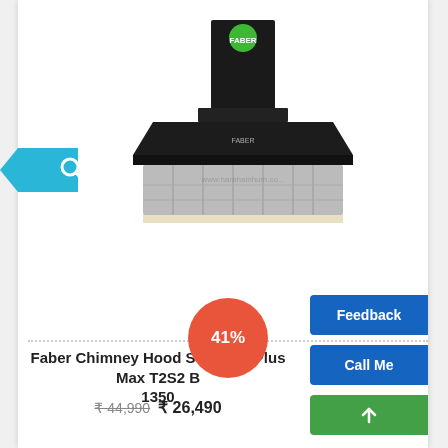[Figure (photo): Faber kitchen chimney hood - black box-shaped chimney with green logo on top, steel filter at bottom, shown against white background]
[Figure (infographic): Orange circular discount badge showing '41%']
Faber Chimney Hood Stilux 3D Plus Max T2S2 B 1350
₹ 44,990  ₹ 26,490
[Figure (infographic): Blue 'Feedback' button on the right edge]
[Figure (infographic): Blue 'Call Me' button on the right edge]
[Figure (infographic): Green share/WhatsApp button on the right edge]